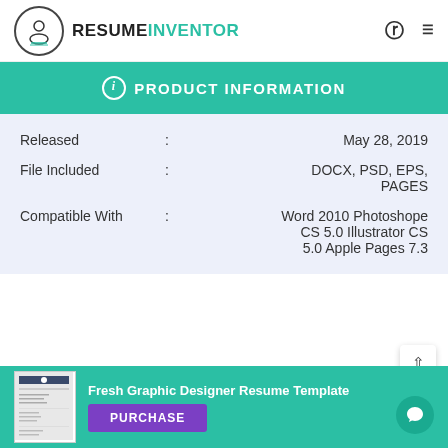RESUMEINVENTOR
PRODUCT INFORMATION
| Field | : | Value |
| --- | --- | --- |
| Released | : | May 28, 2019 |
| File Included | : | DOCX, PSD, EPS, PAGES |
| Compatible With | : | Word 2010 Photoshope CS 5.0 Illustrator CS 5.0 Apple Pages 7.3 |
[Figure (screenshot): Thumbnail of Fresh Graphic Designer Resume Template]
Fresh Graphic Designer Resume Template
PURCHASE